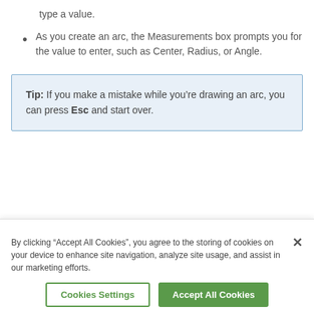type a value.
As you create an arc, the Measurements box prompts you for the value to enter, such as Center, Radius, or Angle.
Tip: If you make a mistake while you’re drawing an arc, you can press Esc and start over.
Drawing Freehand
By clicking “Accept All Cookies”, you agree to the storing of cookies on your device to enhance site navigation, analyze site usage, and assist in our marketing efforts.